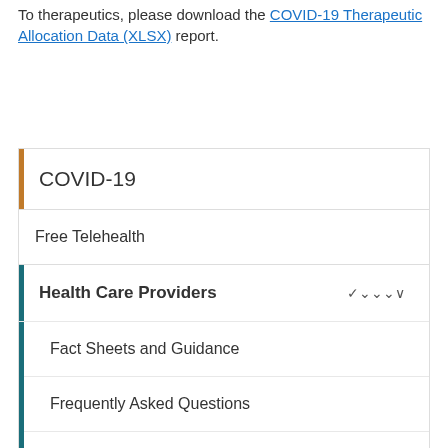To therapeutics, please download the COVID-19 Therapeutic Allocation Data (XLSX) report.
COVID-19
Free Telehealth
Health Care Providers
Fact Sheets and Guidance
Frequently Asked Questions
Resources and Toolkits